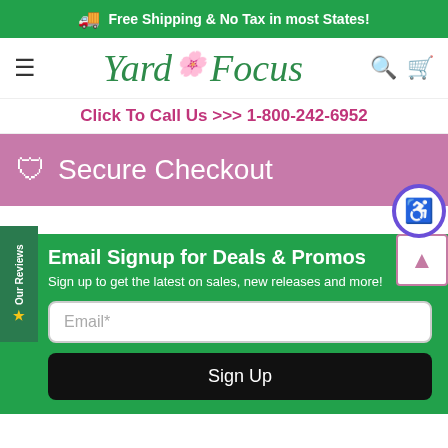Free Shipping & No Tax in most States!
[Figure (logo): Yard Focus logo with pink flower and cursive green text]
Click To Call Us >>> 1-800-242-6952
Secure Checkout
Email Signup for Deals & Promos
Sign up to get the latest on sales, new releases and more!
Email*
Sign Up